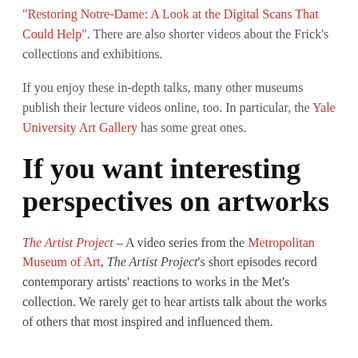"Restoring Notre-Dame: A Look at the Digital Scans That Could Help". There are also shorter videos about the Frick's collections and exhibitions.
If you enjoy these in-depth talks, many other museums publish their lecture videos online, too. In particular, the Yale University Art Gallery has some great ones.
If you want interesting perspectives on artworks
The Artist Project – A video series from the Metropolitan Museum of Art, The Artist Project's short episodes record contemporary artists' reactions to works in the Met's collection. We rarely get to hear artists talk about the works of others that most inspired and influenced them.